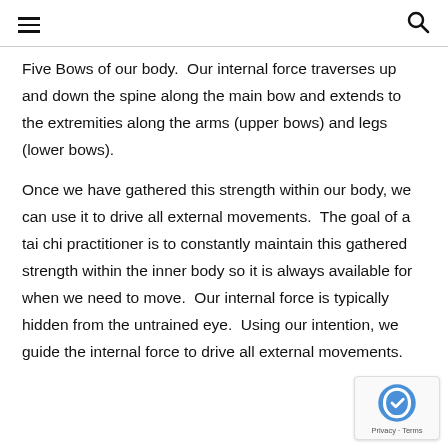[hamburger menu] [search icon]
Five Bows of our body.  Our internal force traverses up and down the spine along the main bow and extends to the extremities along the arms (upper bows) and legs (lower bows).
Once we have gathered this strength within our body, we can use it to drive all external movements.  The goal of a tai chi practitioner is to constantly maintain this gathered strength within the inner body so it is always available for when we need to move.  Our internal force is typically hidden from the untrained eye.  Using our intention, we guide the internal force to drive all external movements.